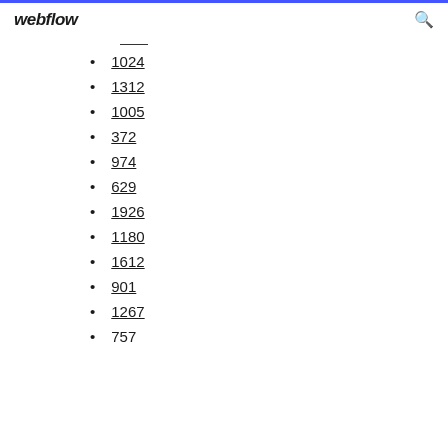webflow
1024
1312
1005
372
974
629
1926
1180
1612
901
1267
757